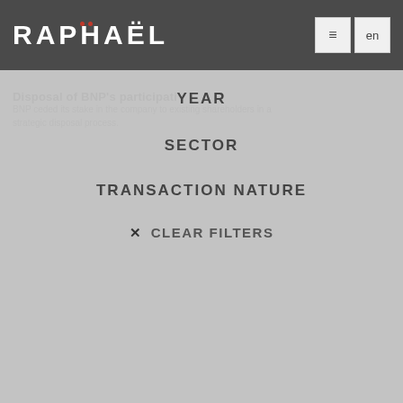RAPHAËL
YEAR
SECTOR
TRANSACTION NATURE
✕ CLEAR FILTERS
Disposal of BNP's participation in Financière AVR
Disposal  2016
[Figure (logo): Teldar Travel and H•••CORPO logos stacked vertically]
CLIENT : HLD, MANAGEMENT
Sectors : Travel and leisure, Tech
Secondary LBO by the management and HLD
HOTEL BOOKING PLATFORM